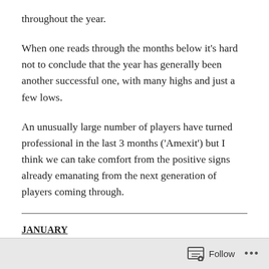throughout the year.
When one reads through the months below it’s hard not to conclude that the year has generally been another successful one, with many highs and just a few lows.
An unusually large number of players have turned professional in the last 3 months (‘Amexit’) but I think we can take comfort from the positive signs already emanating from the next generation of players coming through.
JANUARY
Follow ...